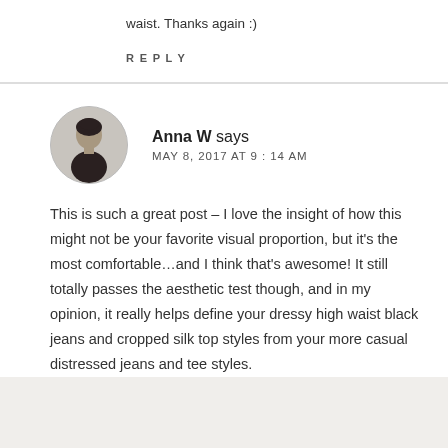waist. Thanks again :)
REPLY
Anna W says
MAY 8, 2017 AT 9:14 AM
This is such a great post – I love the insight of how this might not be your favorite visual proportion, but it's the most comfortable…and I think that's awesome! It still totally passes the aesthetic test though, and in my opinion, it really helps define your dressy high waist black jeans and cropped silk top styles from your more casual distressed jeans and tee styles.